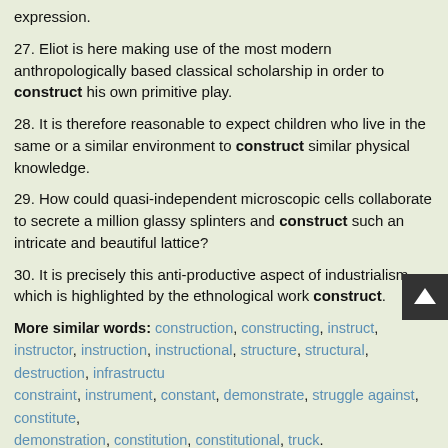expression.
27. Eliot is here making use of the most modern anthropologically based classical scholarship in order to construct his own primitive play.
28. It is therefore reasonable to expect children who live in the same or a similar environment to construct similar physical knowledge.
29. How could quasi-independent microscopic cells collaborate to secrete a million glassy splinters and construct such an intricate and beautiful lattice?
30. It is precisely this anti-productive aspect of industrialism which is highlighted by the ethnological work construct.
More similar words: construction, constructing, instruct, instructor, instruction, instructional, structure, structural, destruction, infrastructure, constraint, instrument, constant, demonstrate, struggle against, constitute, demonstration, constitution, constitutional, truck.
To top 1/9 next› goto 1 ok
Leave a comment